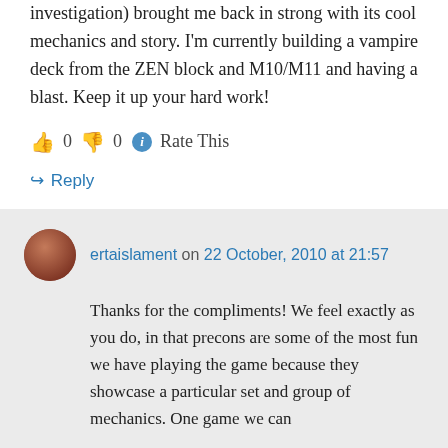investigation) brought me back in strong with its cool mechanics and story. I'm currently building a vampire deck from the ZEN block and M10/M11 and having a blast. Keep it up your hard work!
👍 0 👎 0 ℹ Rate This
↪ Reply
ertaislament on 22 October, 2010 at 21:57
Thanks for the compliments! We feel exactly as you do, in that precons are some of the most fun we have playing the game because they showcase a particular set and group of mechanics. One game we can